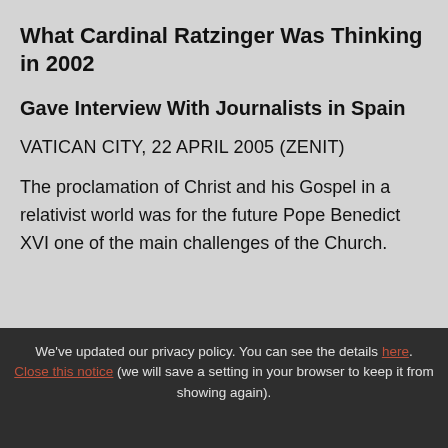What Cardinal Ratzinger Was Thinking in 2002
Gave Interview With Journalists in Spain
VATICAN CITY, 22 APRIL 2005 (ZENIT)
The proclamation of Christ and his Gospel in a relativist world was for the future Pope Benedict XVI one of the main challenges of the Church.
We've updated our privacy policy. You can see the details here. Close this notice (we will save a setting in your browser to keep it from showing again).